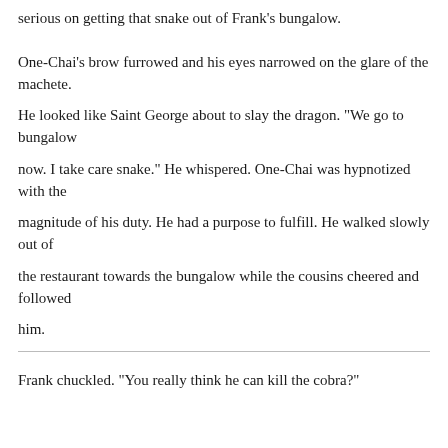serious on getting that snake out of Frank's bungalow.
One-Chai's brow furrowed and his eyes narrowed on the glare of the machete.
He looked like Saint George about to slay the dragon. "We go to bungalow
now. I take care snake." He whispered. One-Chai was hypnotized with the
magnitude of his duty. He had a purpose to fulfill. He walked slowly out of
the restaurant towards the bungalow while the cousins cheered and followed
him.
Frank chuckled. "You really think he can kill the cobra?"